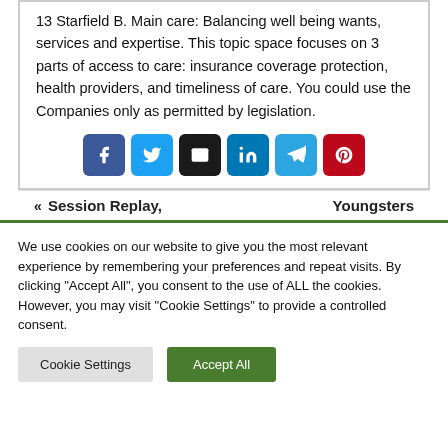13 Starfield B. Main care: Balancing well being wants, services and expertise. This topic space focuses on 3 parts of access to care: insurance coverage protection, health providers, and timeliness of care. You could use the Companies only as permitted by legislation.
[Figure (other): Social sharing icons: Facebook (dark blue), Twitter (light blue), Email (black), LinkedIn (blue), Telegram (teal), Pinterest (red)]
« Session Replay,    Youngsters
We use cookies on our website to give you the most relevant experience by remembering your preferences and repeat visits. By clicking "Accept All", you consent to the use of ALL the cookies. However, you may visit "Cookie Settings" to provide a controlled consent.